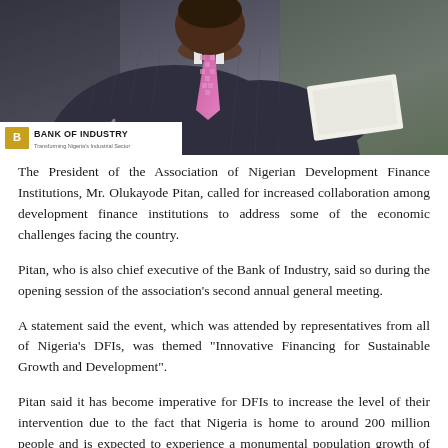[Figure (photo): Photograph of a man in a dark pinstripe suit and pink/magenta patterned tie, seated at a table, holding papers and glasses. Bank of Industry logo visible in bottom-left corner of photo.]
The President of the Association of Nigerian Development Finance Institutions, Mr. Olukayode Pitan, called for increased collaboration among development finance institutions to address some of the economic challenges facing the country.
Pitan, who is also chief executive of the Bank of Industry, said so during the opening session of the association's second annual general meeting.
A statement said the event, which was attended by representatives from all of Nigeria's DFIs, was themed "Innovative Financing for Sustainable Growth and Development".
Pitan said it has become imperative for DFIs to increase the level of their intervention due to the fact that Nigeria is home to around 200 million people and is expected to experience a monumental population growth of around 400 million people by